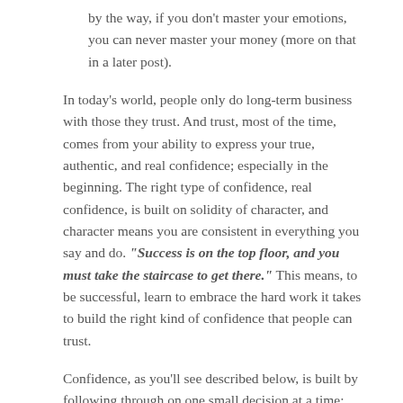by the way, if you don't master your emotions, you can never master your money (more on that in a later post).
In today's world, people only do long-term business with those they trust. And trust, most of the time, comes from your ability to express your true, authentic, and real confidence; especially in the beginning. The right type of confidence, real confidence, is built on solidity of character, and character means you are consistent in everything you say and do. "Success is on the top floor, and you must take the staircase to get there." This means, to be successful, learn to embrace the hard work it takes to build the right kind of confidence that people can trust.
Confidence, as you'll see described below, is built by following through on one small decision at a time: